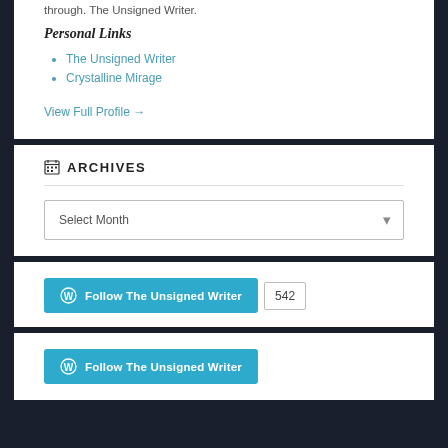through. The Unsigned Writer.
Personal Links
The Unsigned Writer
Crystalline Mirage
View Full Profile →
ARCHIVES
Select Month
Follow The Unsigned Writer  542
Follow The Unsigned Writer